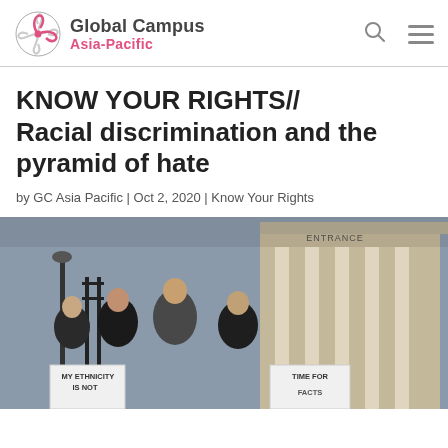Global Campus Asia-Pacific
KNOW YOUR RIGHTS// Racial discrimination and the pyramid of hate
by GC Asia Pacific | Oct 2, 2020 | Know Your Rights
[Figure (photo): Several Asian women standing in front of a building entrance holding protest signs, one reading 'MY ETHNICITY IS NOT' and another 'TIME FOR FACTS'. The building has columns and an 'ENTRANCE' sign visible.]